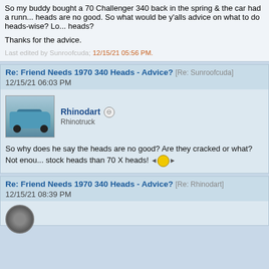So my buddy bought a 70 Challenger 340 back in the spring & the car had a runn... heads are no good. So what would be y'alls advice on what to do heads-wise? Lo... heads?
Thanks for the advice.
Last edited by Sunroofcuda; 12/15/21 05:56 PM.
Re: Friend Needs 1970 340 Heads - Advice? [Re: Sunroofcuda] 12/15/21 06:03 PM
Rhinodart  Rhinotruck
So why does he say the heads are no good? Are they cracked or what? Not enou... stock heads than 70 X heads!
Re: Friend Needs 1970 340 Heads - Advice? [Re: Rhinodart] 12/15/21 08:39 PM